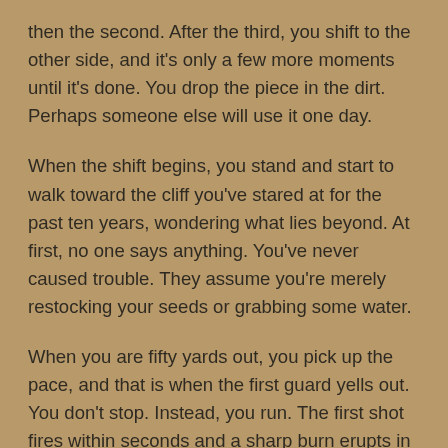then the second. After the third, you shift to the other side, and it's only a few more moments until it's done. You drop the piece in the dirt. Perhaps someone else will use it one day.
When the shift begins, you stand and start to walk toward the cliff you've stared at for the past ten years, wondering what lies beyond. At first, no one says anything. You've never caused trouble. They assume you're merely restocking your seeds or grabbing some water.
When you are fifty yards out, you pick up the pace, and that is when the first guard yells out. You don't stop. Instead, you run. The first shot fires within seconds and a sharp burn erupts in your side, but still, you don't stop. You can't. More shots soon follow, but they all go wide.